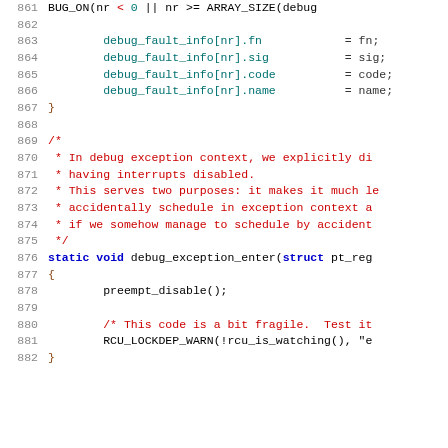[Figure (screenshot): Source code listing showing C code lines 861-882, with syntax highlighting. Line numbers in grey on left, code in various colors (blue for keywords, red for comments, teal for field names).]